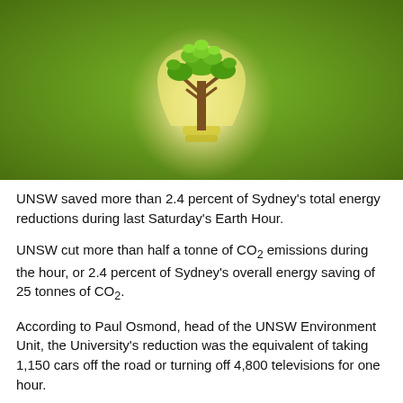[Figure (illustration): Green background with a glowing light bulb shape containing a tree with green leaves growing from the center, symbolizing energy and sustainability.]
UNSW saved more than 2.4 percent of Sydney's total energy reductions during last Saturday's Earth Hour.
UNSW cut more than half a tonne of CO2 emissions during the hour, or 2.4 percent of Sydney's overall energy saving of 25 tonnes of CO2.
According to Paul Osmond, head of the UNSW Environment Unit, the University's reduction was the equivalent of taking 1,150 cars off the road or turning off 4,800 televisions for one hour.
"We reduced energy usage by nine percent, compared to what we would usually use between 7.30 and 8.30pm on a normal Saturday night," said Mr Osmond.
The University switched off lights that weren't required for safety